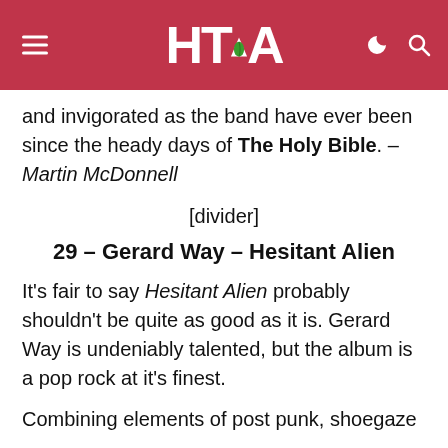HTA (logo with leaf)
and invigorated as the band have ever been since the heady days of The Holy Bible. – Martin McDonnell
[divider]
29 – Gerard Way – Hesitant Alien
It's fair to say Hesitant Alien probably shouldn't be quite as good as it is. Gerard Way is undeniably talented, but the album is a pop rock at it's finest.
Combining elements of post punk, shoegaze and Britpop. Gerard has put together a huge...